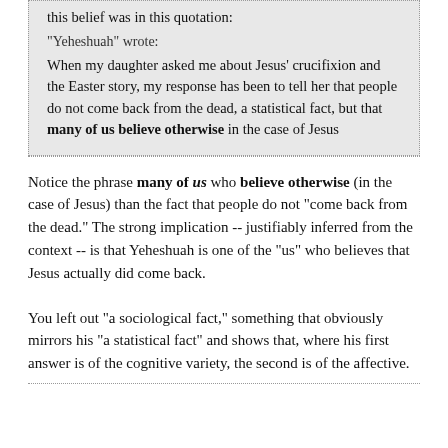this belief was in this quotation:
"Yeheshuah" wrote:
When my daughter asked me about Jesus' crucifixion and the Easter story, my response has been to tell her that people do not come back from the dead, a statistical fact, but that many of us believe otherwise in the case of Jesus
Notice the phrase many of us who believe otherwise (in the case of Jesus) than the fact that people do not "come back from the dead." The strong implication -- justifiably inferred from the context -- is that Yeheshuah is one of the "us" who believes that Jesus actually did come back.
You left out "a sociological fact," something that obviously mirrors his "a statistical fact" and shows that, where his first answer is of the cognitive variety, the second is of the affective.